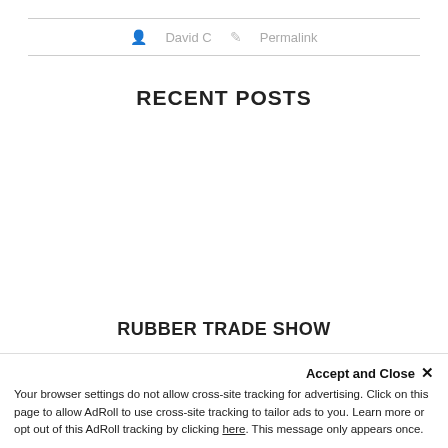David C   Permalink
RECENT POSTS
RUBBER TRADE SHOW
Accept and Close ✕
Your browser settings do not allow cross-site tracking for advertising. Click on this page to allow AdRoll to use cross-site tracking to tailor ads to you. Learn more or opt out of this AdRoll tracking by clicking here. This message only appears once.